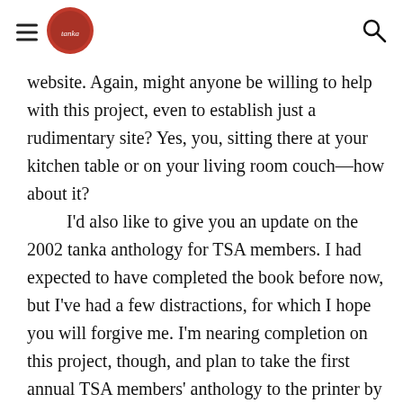[hamburger menu] [logo] [search icon]
website. Again, might anyone be willing to help with this project, even to establish just a rudimentary site? Yes, you, sitting there at your kitchen table or on your living room couch—how about it?
	I'd also like to give you an update on the 2002 tanka anthology for TSA members. I had expected to have completed the book before now, but I've had a few distractions, for which I hope you will forgive me. I'm nearing completion on this project, though, and plan to take the first annual TSA members' anthology to the printer by the time you read this. A healthy number of submissions poured in from far and wide, and I thank everyone who